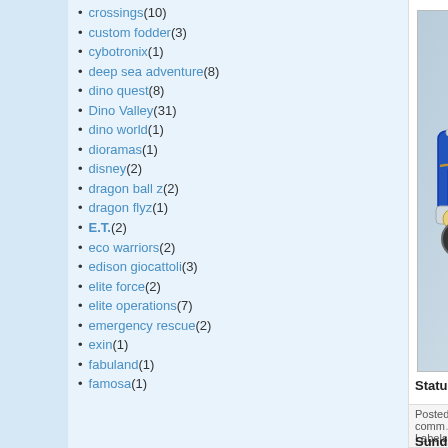crossings (10)
custom fodder (3)
cybotronix (1)
deep sea adventure (8)
dino quest (8)
Dino Valley (31)
dino world (1)
dioramas (1)
disney (2)
dragon ball z (2)
dragon flyz (1)
E.T. (2)
eco warriors (2)
edison giocattoli (3)
elite force (2)
elite operations (7)
emergency rescue (2)
exin (1)
fabuland (1)
famosa (1)
[Figure (photo): Blue toy truck model (NO.5298) with chrome details photographed against a light blue-grey background. The truck appears to be a custom or collector's model with decorative elements.]
Status: Unavailable
Posted by JoMi at 24.8.09   No comments:   Labels: truck advance
Sunday, August 23, 2009